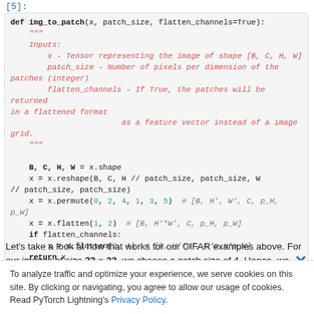[5]:
[Figure (screenshot): Python code block showing the img_to_patch function definition with docstring in red/italic and code in black monospace. The function takes x, patch_size, flatten_channels=True parameters and reshapes/permutes/flattens a tensor into image patches.]
Let's take a look at how that works for our CIFAR examples above. For our images of size 32 x 32, we choose a patch size of 4. Hence, we obtain sequences of
To analyze traffic and optimize your experience, we serve cookies on this site. By clicking or navigating, you agree to allow our usage of cookies. Read PyTorch Lightning's Privacy Policy.